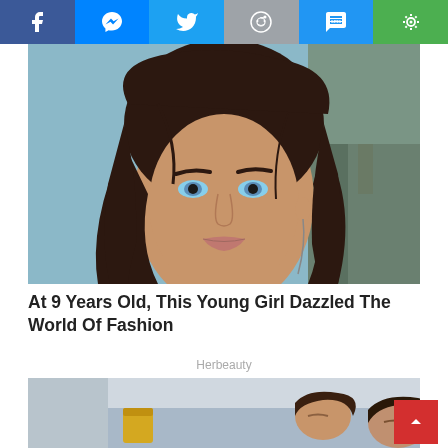[Figure (other): Social media share bar with icons: Facebook (blue), Messenger (blue), Twitter (blue), Reddit (gray), SMS (blue), Camera/share (green)]
[Figure (photo): Close-up photo of a young woman with long dark brown hair and blue eyes, looking at the camera]
At 9 Years Old, This Young Girl Dazzled The World Of Fashion
Herbeauty
[Figure (photo): Partial photo of a couple resting/sleeping on a couch, with a glass of juice visible in background]